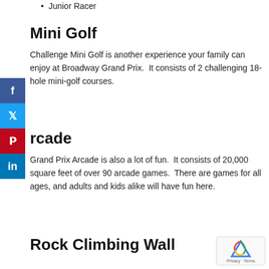Junior Racer
Mini Golf
Challenge Mini Golf is another experience your family can enjoy at Broadway Grand Prix.  It consists of 2 challenging 18-hole mini-golf courses.
Arcade
Grand Prix Arcade is also a lot of fun.  It consists of 20,000 square feet of over 90 arcade games.  There are games for all ages, and adults and kids alike will have fun here.
Rock Climbing Wall